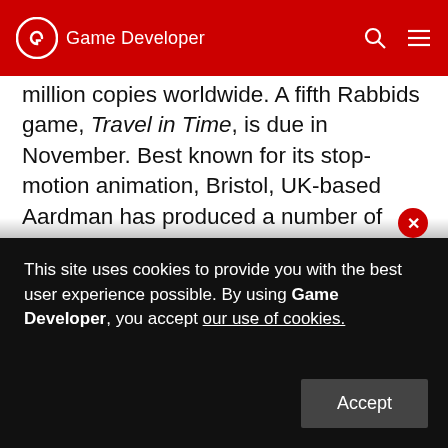Game Developer
million copies worldwide. A fifth Rabbids game, Travel in Time, is due in November. Best known for its stop-motion animation, Bristol, UK-based Aardman has produced a number of award-winning feature films, television series, and commercials, including Wallace & Gromit, Shaun the Sheep, and Flushed Away. The Wallace & Gromit series has itself been adapted into a series of episodic adventure games by Telltale Games. This isn't the first time Aardman has created animation in
This site uses cookies to provide you with the best user experience possible. By using Game Developer, you accept our use of cookies.